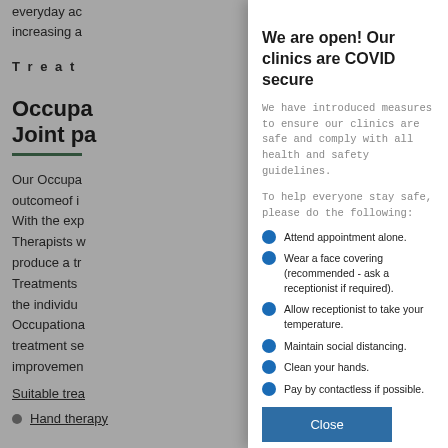everyday ac... increasing a...
Treat
Occupa... Joint pa...
Our Occupa... outcomeof i... With the exp... Therapists w... produce a tr... Treatments ... the individu... Occupationa... treatment se... improvemen...
Suitable trea...
Hand therapy
We are open! Our clinics are COVID secure
We have introduced measures to ensure our clinics are safe and comply with all health and safety guidelines.
To help everyone stay safe, please do the following:
Attend appointment alone.
Wear a face covering (recommended - ask a receptionist if required).
Allow receptionist to take your temperature.
Maintain social distancing.
Clean your hands.
Pay by contactless if possible.